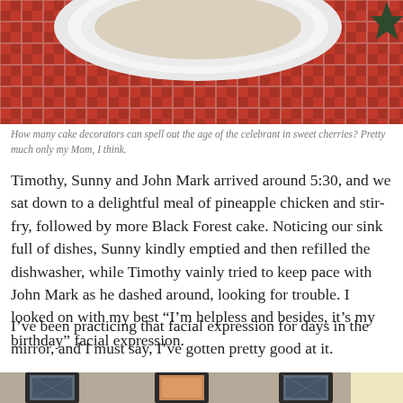[Figure (photo): Top portion of a cake on a red and white checkered tablecloth, with a white bowl or plate visible and a dark star decoration in the top right corner.]
How many cake decorators can spell out the age of the celebrant in sweet cherries? Pretty much only my Mom, I think.
Timothy, Sunny and John Mark arrived around 5:30, and we sat down to a delightful meal of pineapple chicken and stir-fry, followed by more Black Forest cake. Noticing our sink full of dishes, Sunny kindly emptied and then refilled the dishwasher, while Timothy vainly tried to keep pace with John Mark as he dashed around, looking for trouble. I looked on with my best “I’m helpless and besides, it’s my birthday” facial expression.
I’ve been practicing that facial expression for days in the mirror, and I must say, I’ve gotten pretty good at it.
[Figure (photo): Bottom portion showing an interior room with framed pictures on a wall and a lamp, cropped at the bottom of the page.]